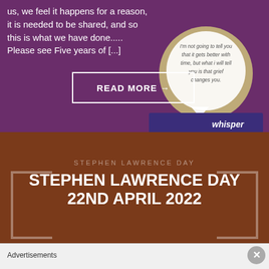us, we feel it happens for a reason, it is needed to be shared, and so this is what we have done..... Please see Five years of [...]
[Figure (screenshot): Purple/magenta background with a Whisper app speech bubble showing quote about grief: 'I'm not going to tell you that it gets better with time, but what i will tell you is that grief changes you.' with Whisper logo at bottom right.]
READ MORE →
STEPHEN LAWRENCE DAY
STEPHEN LAWRENCE DAY 22ND APRIL 2022
Advertisements